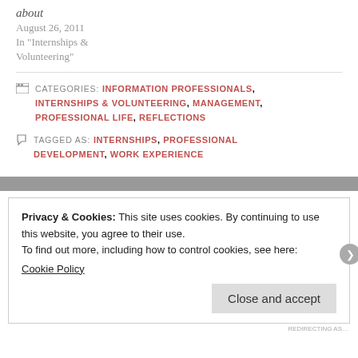about
August 26, 2011
In "Internships & Volunteering"
CATEGORIES: INFORMATION PROFESSIONALS, INTERNSHIPS & VOLUNTEERING, MANAGEMENT, PROFESSIONAL LIFE, REFLECTIONS
TAGGED AS: INTERNSHIPS, PROFESSIONAL DEVELOPMENT, WORK EXPERIENCE
Privacy & Cookies: This site uses cookies. By continuing to use this website, you agree to their use.
To find out more, including how to control cookies, see here:
Cookie Policy
Close and accept